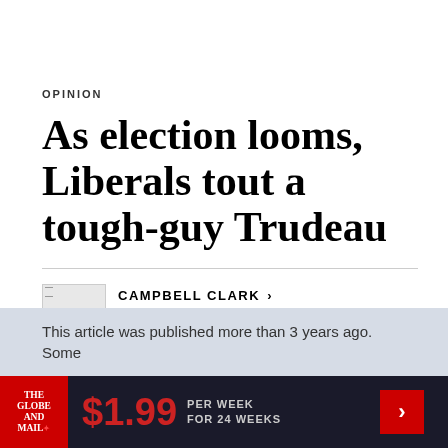OPINION
As election looms, Liberals tout a tough-guy Trudeau
CAMPBELL CLARK > OTTAWA PUBLISHED JUNE 26, 2019
This article was published more than 3 years ago. Some
$1.99 PER WEEK FOR 24 WEEKS